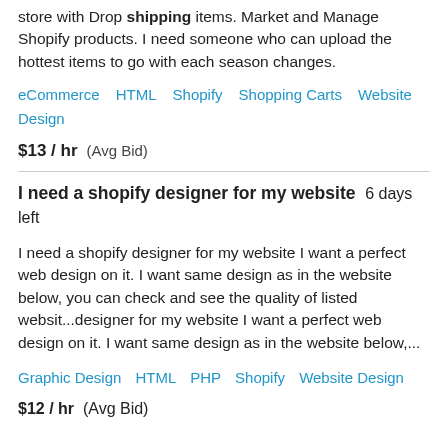store with Drop shipping items. Market and Manage Shopify products. I need someone who can upload the hottest items to go with each season changes.
eCommerce   HTML   Shopify   Shopping Carts   Website Design
$13 / hr  (Avg Bid)
I need a shopify designer for my website  6 days left
I need a shopify designer for my website I want a perfect web design on it. I want same design as in the website below, you can check and see the quality of listed websit...designer for my website I want a perfect web design on it. I want same design as in the website below,...
Graphic Design   HTML   PHP   Shopify   Website Design
$12 / hr  (Avg Bid)